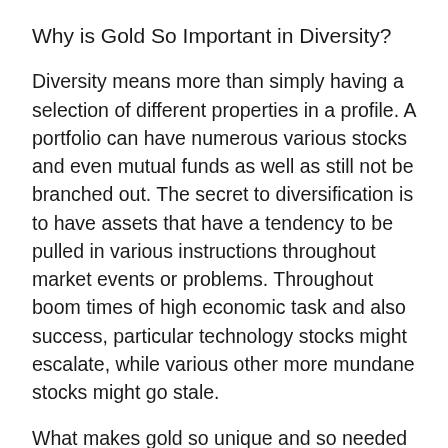Why is Gold So Important in Diversity?
Diversity means more than simply having a selection of different properties in a profile. A portfolio can have numerous various stocks and even mutual funds as well as still not be branched out. The secret to diversification is to have assets that have a tendency to be pulled in various instructions throughout market events or problems. Throughout boom times of high economic task and also success, particular technology stocks might escalate, while various other more mundane stocks might go stale.
What makes gold so unique and so needed in a diversification approach is that it tends to move in the contrary direction of nearly all